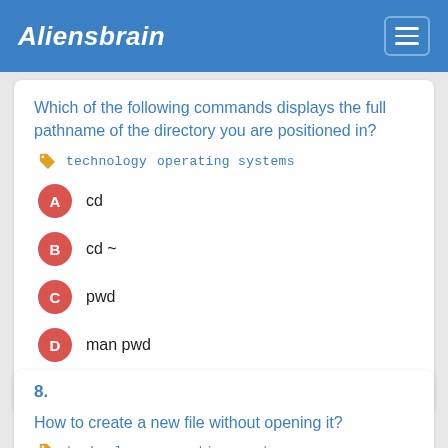Aliensbrain
Which of the following commands displays the full pathname of the directory you are positioned in?
technology   operating systems
A  cd
B  cd ~
C  pwd
D  man pwd
Show answer
8.
How to create a new file without opening it?
technology   operating systems